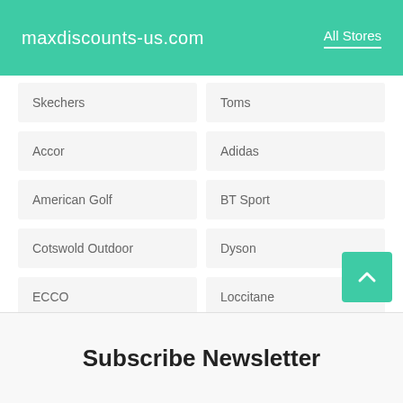maxdiscounts-us.com   All Stores
Skechers
Toms
Accor
Adidas
American Golf
BT Sport
Cotswold Outdoor
Dyson
ECCO
Loccitane
Surfdome
Tessuti
Subscribe Newsletter